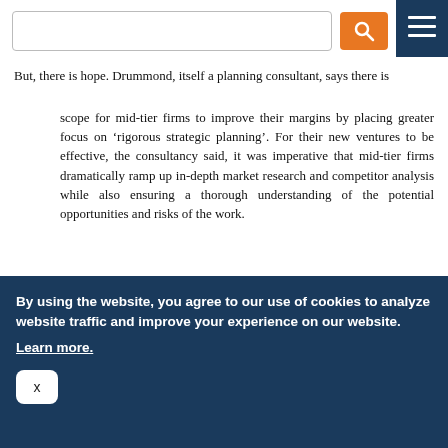[Search bar and navigation menu]
But, there is hope. Drummond, itself a planning consultant, says there is
scope for mid-tier firms to improve their margins by placing greater focus on ‘rigorous strategic planning’. For their new ventures to be effective, the consultancy said, it was imperative that mid-tier firms dramatically ramp up in-depth market research and competitor analysis while also ensuring a thorough understanding of the potential opportunities and risks of the work.
Firms were warned that without carrying out detailed due diligence, they could risk seeing seemingly profitable new business ventures suffer or even fail.
By using the website, you agree to our use of cookies to analyze website traffic and improve your experience on our website. Learn more.